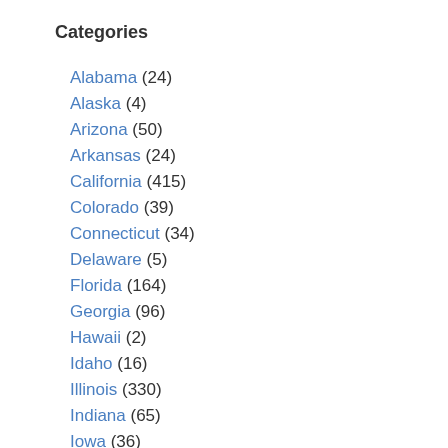Categories
Alabama (24)
Alaska (4)
Arizona (50)
Arkansas (24)
California (415)
Colorado (39)
Connecticut (34)
Delaware (5)
Florida (164)
Georgia (96)
Hawaii (2)
Idaho (16)
Illinois (330)
Indiana (65)
Iowa (36)
Kansas (26)
Kentucky (19)
Louisiana (22)
Maine (9)